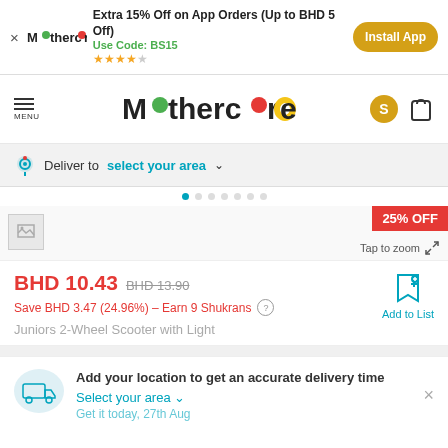Extra 15% Off on App Orders (Up to BHD 5 Off) Use Code: BS15 ★★★★☆ Install App
[Figure (logo): Mothercare logo in navigation bar]
Deliver to select your area
25% OFF
Tap to zoom
BHD 10.43 BHD 13.90
Save BHD 3.47 (24.96%) – Earn 9 Shukrans
Add to List
Juniors 2-Wheel Scooter with Light
Add your location to get an accurate delivery time
Select your area
Get it today, 27th Aug